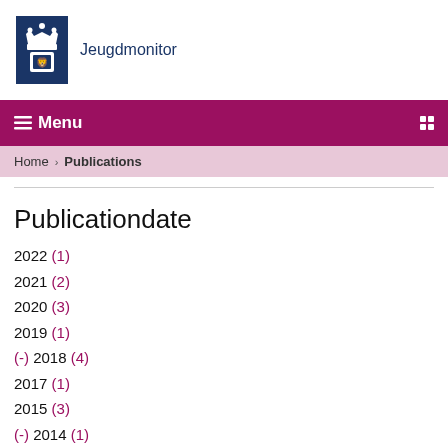Jeugdmonitor
☰ Menu
Home › Publications
Publicationdate
2022 (1)
2021 (2)
2020 (3)
2019 (1)
(-) 2018 (4)
2017 (1)
2015 (3)
(-) 2014 (1)
(-) 2011 (1)
2009 (1)